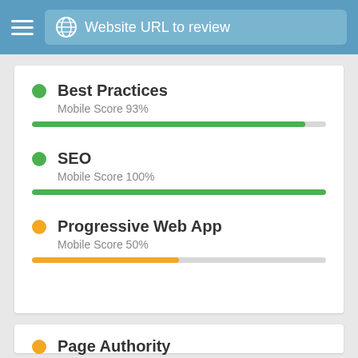Website URL to review
Best Practices
Mobile Score 93%
SEO
Mobile Score 100%
Progressive Web App
Mobile Score 50%
Page Authority
Authority 20%